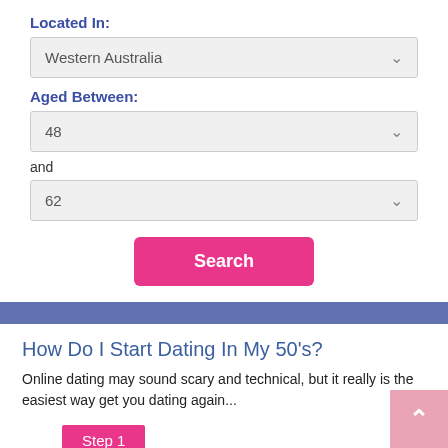Located In:
Western Australia
Aged Between:
48
and
62
Search
How Do I Start Dating In My 50's?
Online dating may sound scary and technical, but it really is the easiest way get you dating again...
Step 1
Sign Up For Free